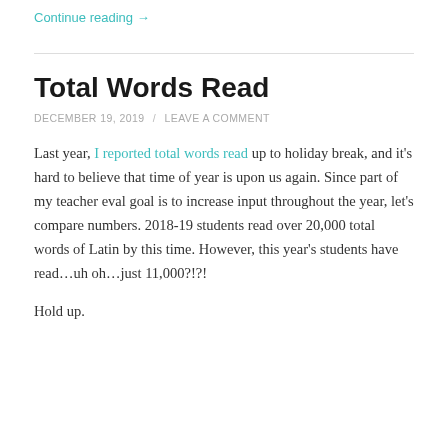Continue reading →
Total Words Read
DECEMBER 19, 2019 / LEAVE A COMMENT
Last year, I reported total words read up to holiday break, and it's hard to believe that time of year is upon us again. Since part of my teacher eval goal is to increase input throughout the year, let's compare numbers. 2018-19 students read over 20,000 total words of Latin by this time. However, this year's students have read…uh oh…just 11,000?!?!
Hold up.